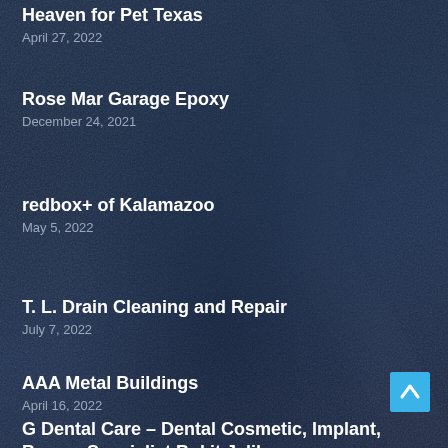Heaven for Pet Texas
April 27, 2022
Rose Mar Garage Epoxy
December 24, 2021
redbox+ of Kalamazoo
May 5, 2022
T. L. Drain Cleaning and Repair
July 7, 2022
AAA Metal Buildings
April 16, 2022
G Dental Care – Dental Cosmetic, Implant, Braces Specialist Bukit Jalil